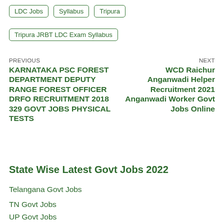LDC Jobs
Syllabus
Tripura
Tripura JRBT LDC Exam Syllabus
PREVIOUS
KARNATAKA PSC FOREST DEPARTMENT DEPUTY RANGE FOREST OFFICER DRFO RECRUITMENT 2018 329 GOVT JOBS PHYSICAL TESTS
NEXT
WCD Raichur Anganwadi Helper Recruitment 2021 Anganwadi Worker Govt Jobs Online
State Wise Latest Govt Jobs 2022
Telangana Govt Jobs
TN Govt Jobs
UP Govt Jobs